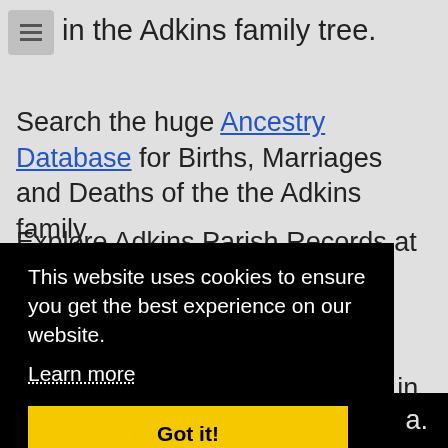in the Adkins family tree.
Search the huge Ancestry Database for Births, Marriages and Deaths of the the Adkins family
Explore Adkins Parish Records at Find My Past.
Investigate the UK registered births, marriages and deaths of the Adkins family in the
This website uses cookies to ensure you get the best experience on our website.
Learn more
Got it!
a.